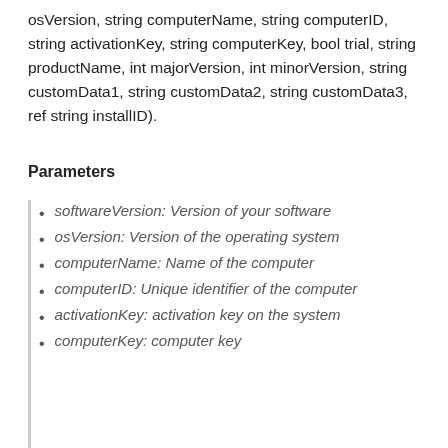osVersion, string computerName, string computerID, string activationKey, string computerKey, bool trial, string productName, int majorVersion, int minorVersion, string customData1, string customData2, string customData3,  ref string installID).
Parameters
softwareVersion: Version of your software
osVersion: Version of the operating system
computerName: Name of the computer
computerID: Unique identifier of the computer
activationKey: activation key on the system
computerKey: computer key